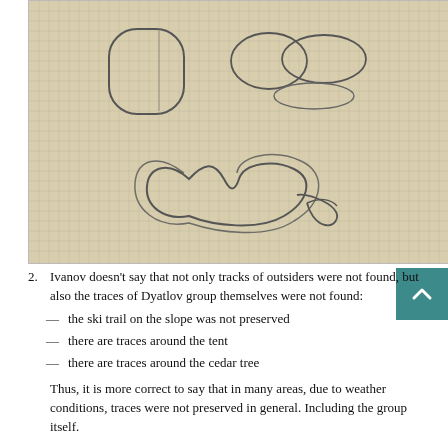[Figure (illustration): Hand-drawn pencil sketches on graph/grid paper showing footprint or shoe sole outlines. Upper left: a rounded rectangular outline (single boot print). Upper right: two overlapping rounded shapes (boot print pair). Lower center: a figure-eight shaped outline with a loop/knot at the right end (ski binding or footwear trace sketch).]
2. Ivanov doesn't say that not only tracks of outsiders were not found, but also the traces of Dyatlov group themselves were not found:
— the ski trail on the slope was not preserved
— there are traces around the tent
— there are traces around the cedar tree
Thus, it is more correct to say that in many areas, due to weather conditions, traces were not preserved in general. Including the group itself.